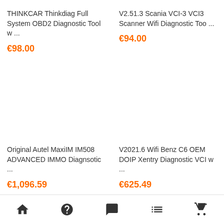THINKCAR Thinkdiag Full System OBD2 Diagnostic Tool w ...
€98.00
V2.51.3 Scania VCI-3 VCI3 Scanner Wifi Diagnostic Too ...
€94.00
Original Autel MaxiIM IM508 ADVANCED IMMO Diagnsotic ...
€1,096.59
V2021.6 Wifi Benz C6 OEM DOIP Xentry Diagnostic VCI w ...
€625.49
Home | Help | Chat | List | Cart